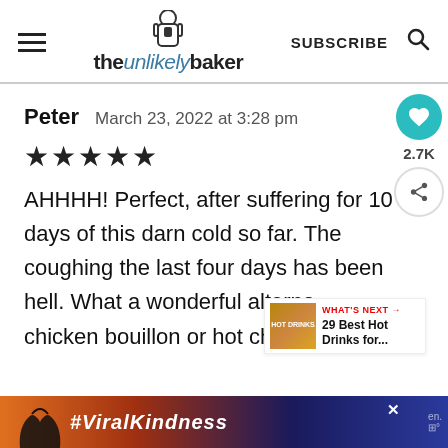theunlikelybaker — SUBSCRIBE
Peter   March 23, 2022 at 3:28 pm
★★★★★
AHHHH! Perfect, after suffering for 10 days of this darn cold so far. The coughing the last four days has been hell. What a wonderful alternative to chicken bouillon or hot chocolate.
[Figure (infographic): Ad banner with hands making heart shape and #ViralKindness hashtag on dark blue/orange gradient background]